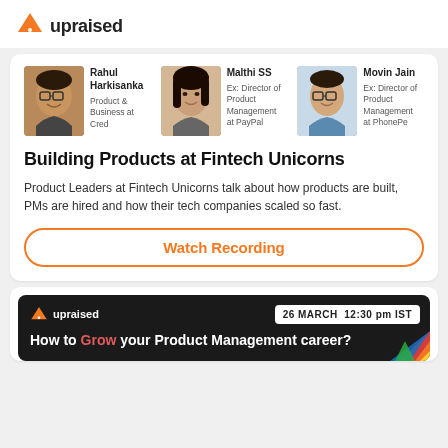[Figure (logo): Upraised logo with orange triangle/arrow icon and text 'upraised']
[Figure (photo): Photo of Rahul Harkisanka, Product & Business at Cred]
Rahul Harkisanka
Product & Business at Cred
[Figure (photo): Photo of Malthi SS, Ex: Director of Product Management at PayPal]
Malthi SS
Ex: Director of Product Management at PayPal
[Figure (photo): Photo of Movin Jain, Ex: Director of Product Management at PhonePe]
Movin Jain
Ex: Director of Product Management at PhonePe
Building Products at Fintech Unicorns
Product Leaders at Fintech Unicorns talk about how products are built, PMs are hired and how their tech companies scaled so fast.
Watch Recording
[Figure (screenshot): Dark card with Upraised logo, date badge '26 MARCH 12:30 pm IST', headline 'How to Grow your Product Management career?' with 'Grow' in red, decorative colorful triangles bottom right]